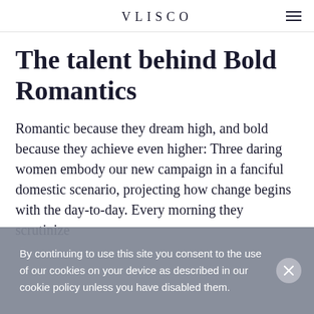VLISCO
The talent behind Bold Romantics
Romantic because they dream high, and bold because they achieve even higher: Three daring women embody our new campaign in a fanciful domestic scenario, projecting how change begins with the day-to-day. Every morning they scrutinize
By continuing to use this site you consent to the use of our cookies on your device as described in our cookie policy unless you have disabled them.